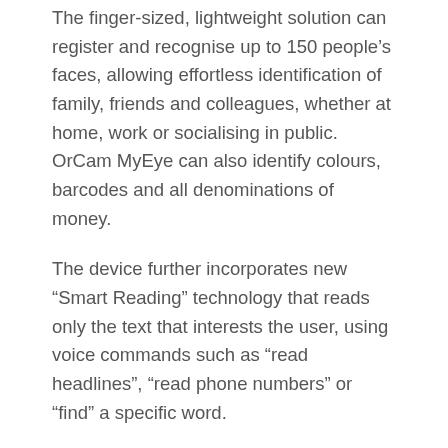The finger-sized, lightweight solution can register and recognise up to 150 people's faces, allowing effortless identification of family, friends and colleagues, whether at home, work or socialising in public. OrCam MyEye can also identify colours, barcodes and all denominations of money.
The device further incorporates new “Smart Reading” technology that reads only the text that interests the user, using voice commands such as “read headlines”, “read phone numbers” or “find” a specific word.
Other new features include “Orientation”, which helps users safely navigate their immediate surroundings. Using the verbal command “what’s in front of me”, OrCam MyEye will identify objects, such as chairs or tables, and relay them back to the user.
Another intuitive feature is the time gesture function. This is